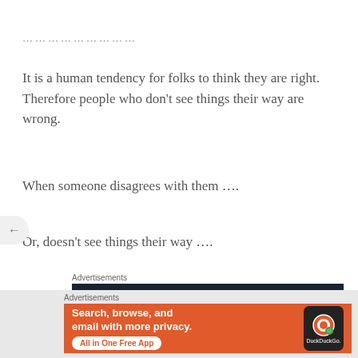………………..
It is a human tendency for folks to think they are right. Therefore people who don't see things their way are wrong.
When someone disagrees with them ….
Or, doesn't see things their way ….
Advertisements
[Figure (screenshot): Dark advertisement banner: Launch your online course with WordPress - Learn More button]
Advertisements
[Figure (screenshot): DuckDuckGo orange advertisement: Search, browse, and email with more privacy. All in One Free App]